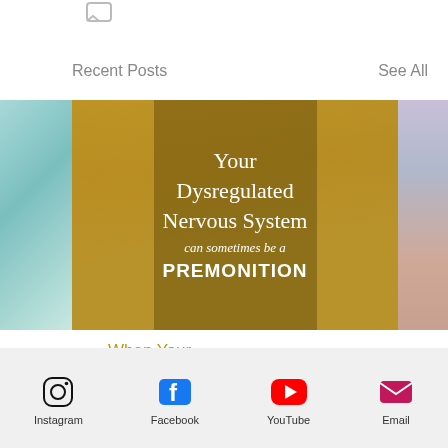[Figure (other): Chat/comment icon at top left]
Recent Posts
See All
[Figure (photo): Blog post thumbnail carousel showing three images: left teal/green abstract, center golden wood texture with overlay text 'Your Dysregulated Nervous System can sometimes be a PREMONITION', right sky/sunset image]
When Your Dysregulated Nervou...
[Figure (other): Comment icon with count 0]
Instagram  Facebook  YouTube  Email